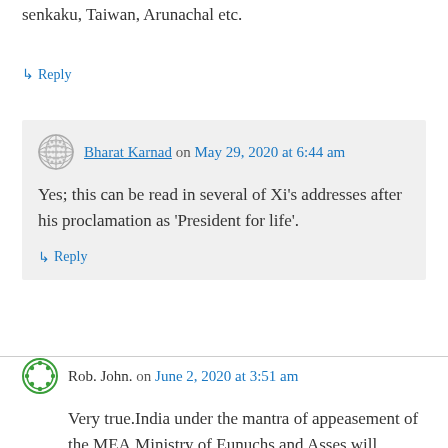senkaku, Taiwan, Arunachal etc.
↳ Reply
Bharat Karnad on May 29, 2020 at 6:44 am
Yes; this can be read in several of Xi's addresses after his proclamation as 'President for life'.
↳ Reply
Rob. John. on June 2, 2020 at 3:51 am
Very true.India under the mantra of appeasement of the MEA,Ministry of Eunuchs and Asses,will continue to suffer the slings and